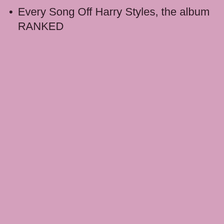Every Song Off Harry Styles, the album RANKED